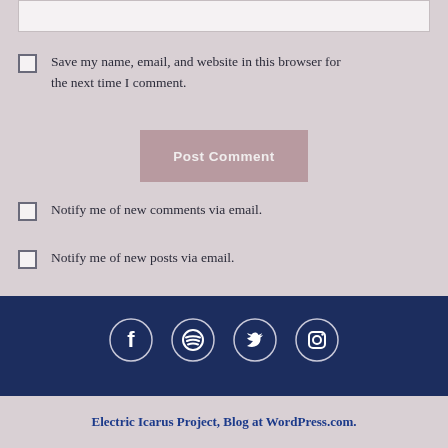Save my name, email, and website in this browser for the next time I comment.
Post Comment
Notify me of new comments via email.
Notify me of new posts via email.
[Figure (infographic): Social media icons: Facebook, Spotify, Twitter, Instagram in white on dark navy background]
Electric Icarus Project, Blog at WordPress.com.